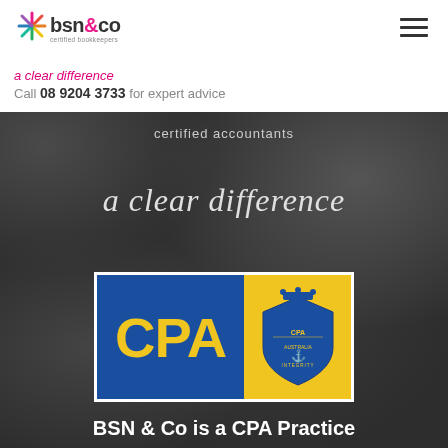[Figure (logo): BSN & Co logo with colorful asterisk/snowflake icon and text 'bsn&co' with subtitle 'certified bookkeepers']
a clear difference
Call 08 9204 3733 for expert advice
[Figure (photo): Dark stone/rock texture background image]
certified accountants
a clear difference
[Figure (logo): CPA Australia logo badge: blue left half with yellow 'CPA' text, yellow right half with blue CPA Australia coat of arms crest and 'INTEGRITY' text]
BSN & Co is a CPA Practice